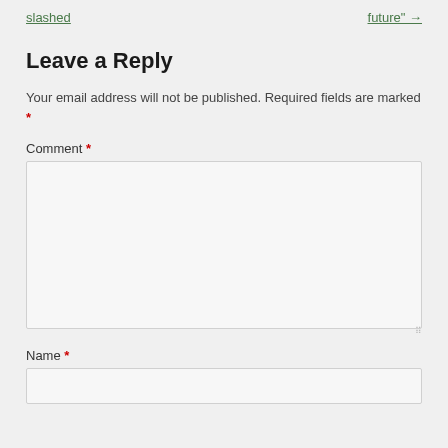slashed
future" →
Leave a Reply
Your email address will not be published. Required fields are marked *
Comment *
Name *